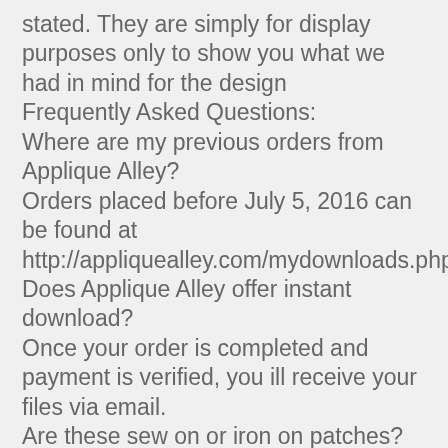stated. They are simply for display purposes only to show you what we had in mind for the design
Frequently Asked Questions:
Where are my previous orders from Applique Alley?
Orders placed before July 5, 2016 can be found at http://appliquealley.com/mydownloads.php
Does Applique Alley offer instant download?
Once your order is completed and payment is verified, you ill receive your files via email.
Are these sew on or iron on patches?
No, these designs are digital embroidery files.
What do I need to use these files?
You will need an embroidery machine. Files are typically transferred through a "Jump Drive" or USB drive to the machine. A cable may also be needed depending on your machine.
We suggest purchasing embroidery software to